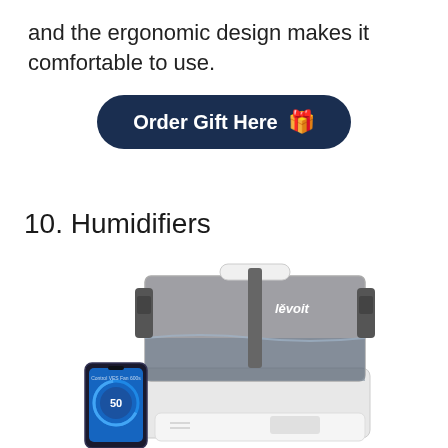and the ergonomic design makes it comfortable to use.
[Figure (other): Dark navy rounded rectangle button with white bold text 'Order Gift Here' and a yellow gift box emoji icon]
10. Humidifiers
[Figure (photo): Levoit brand humidifier with transparent water tank showing water level, with a smartphone displaying a blue humidity control app showing '50' alongside the device]